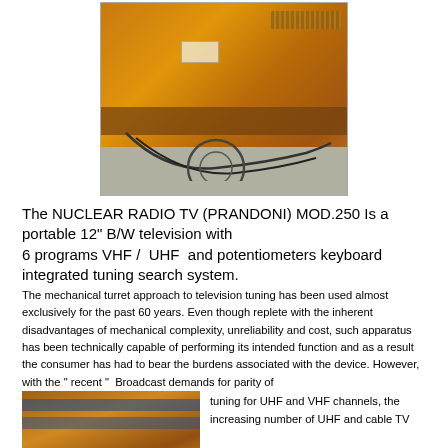[Figure (photo): Back/rear view of an orange portable television set (Nuclear Radio TV Prandoni Mod.250) lying flat, showing cables and wiring, placed on a gray concrete surface.]
The NUCLEAR RADIO TV (PRANDONI) MOD.250 Is a portable 12" B/W television with
6 programs VHF /  UHF  and potentiometers keyboard integrated tuning search system.
The mechanical turret approach to television tuning has been used almost exclusively for the past 60 years. Even though replete with the inherent disadvantages of mechanical complexity, unreliability and cost, such apparatus has been technically capable of performing its intended function and as a result the consumer has had to bear the burdens associated with the device. However, with the " recent "  Broadcast demands for parity of
[Figure (photo): Close-up photo of the orange portable TV showing blue/dark straps or wiring on the side.]
tuning for UHF and VHF channels, the increasing number of UHF and cable TV